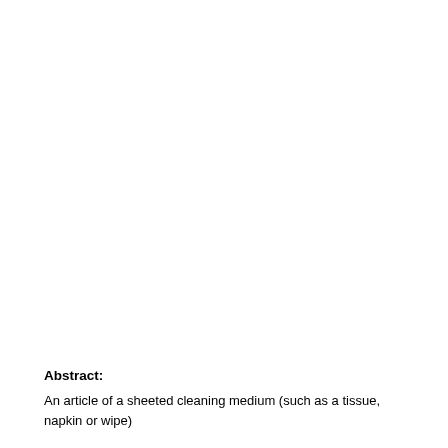Abstract:
An article of a sheeted cleaning medium (such as a tissue, napkin or wipe) and the process of making the same, having at least one layer made of